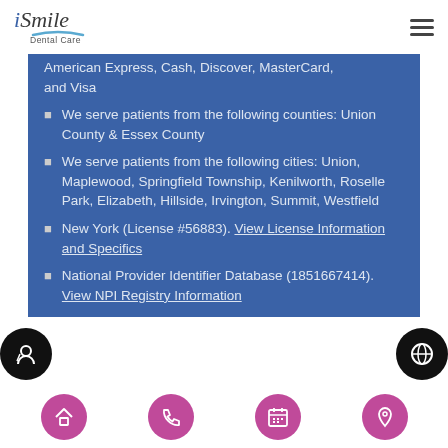iSmile Dental Care
American Express, Cash, Discover, MasterCard, and Visa
We serve patients from the following counties: Union County & Essex County
We serve patients from the following cities: Union, Maplewood, Springfield Township, Kenilworth, Roselle Park, Elizabeth, Hillside, Irvington, Summit, Westfield
New York (License #56883). View License Information and Specifics
National Provider Identifier Database (1851667414). View NPI Registry Information